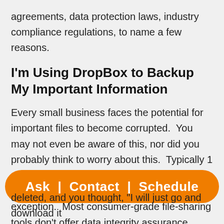agreements, data protection laws, industry compliance regulations, to name a few reasons.
I'm Using DropBox to Backup My Important Information
Every small business faces the potential for important files to become corrupted.  You may not even be aware of this, nor did you probably think to worry about this.  Typically 1 out of every 1500 files becomes corrupted at some point in time, and Dropbox is no exception.  Most consumer-grade file-sharing tools don't offer data integrity assurance systems that businesses need to ensure protection against co...
[Figure (other): Orange call-to-action button with text: Ask | Contact | Schedule]
deleted, and you thought, "I will just go and download it